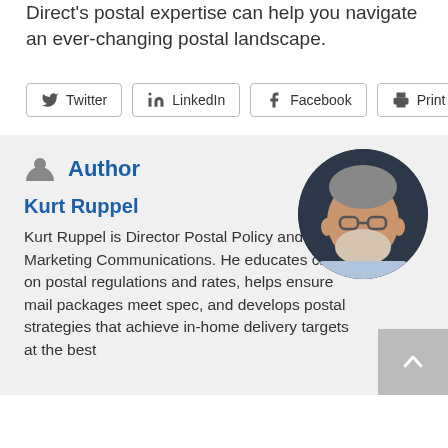Direct's postal expertise can help you navigate an ever-changing postal landscape.
[Figure (other): Social share buttons: Twitter, LinkedIn, Facebook, Print]
Author
Kurt Ruppel
Kurt Ruppel is Director Postal Policy and Marketing Communications. He educates clients on postal regulations and rates, helps ensure mail packages meet spec, and develops postal strategies that achieve in-home delivery targets at the best
[Figure (photo): Headshot of Kurt Ruppel, a man with gray beard and glasses wearing a light blue shirt, photo in circular crop]